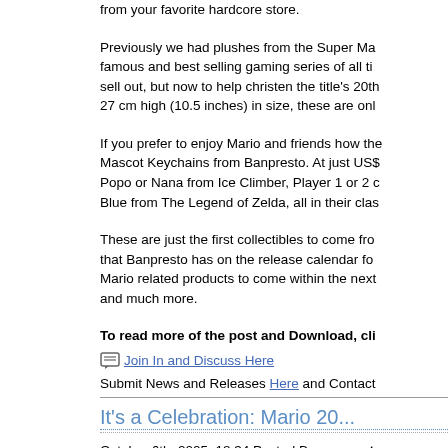from your favorite hardcore store.
Previously we had plushes from the Super Ma... famous and best selling gaming series of all ti... sell out, but now to help christen the title's 20th... 27 cm high (10.5 inches) in size, these are onl...
If you prefer to enjoy Mario and friends how the... Mascot Keychains from Banpresto. At just US$... Popo or Nana from Ice Climber, Player 1 or 2 c... Blue from The Legend of Zelda, all in their clas...
These are just the first collectibles to come fro... that Banpresto has on the release calendar fo... Mario related products to come within the next... and much more.
To read more of the post and Download, cli...
Join In and Discuss Here
Submit News and Releases Here and Contact
It's a Celebration: Mario 20...
October 6th, 2005, 18:34 Posted By: wraggste...
News from Lik Sang